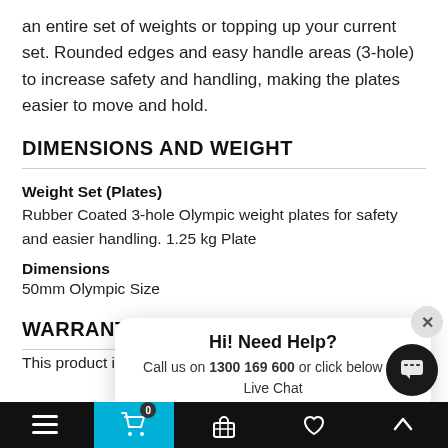an entire set of weights or topping up your current set. Rounded edges and easy handle areas (3-hole) to increase safety and handling, making the plates easier to move and hold.
DIMENSIONS AND WEIGHT
Weight Set (Plates)
Rubber Coated 3-hole Olympic weight plates for safety and easier handling. 1.25kg Plate
Dimensions
50mm Olympic Size
WARRANTY
This product is covered by the following
Hi! Need Help? Call us on 1300 169 600 or click below for Live Chat
Navigation bar with menu, cart (0), basket, heart, and up arrow icons